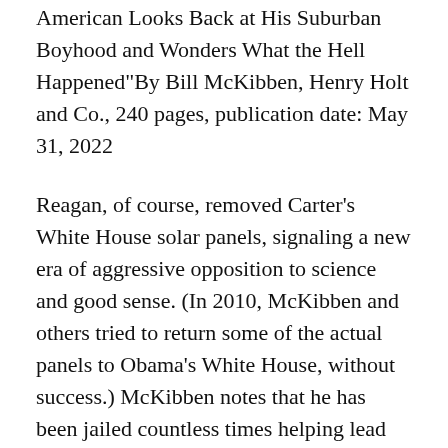American Looks Back at His Suburban Boyhood and Wonders What the Hell Happened"By Bill McKibben, Henry Holt and Co., 240 pages, publication date: May 31, 2022
Reagan, of course, removed Carter's White House solar panels, signaling a new era of aggressive opposition to science and good sense. (In 2010, McKibben and others tried to return some of the actual panels to Obama's White House, without success.) McKibben notes that he has been jailed countless times helping lead protests all over the world and yet "half the sea ice in the Arctic has melted, fires ravage every temperate forest, and millions of climate refugees are already on the move, fleeing ever griev ances and ever deeper...